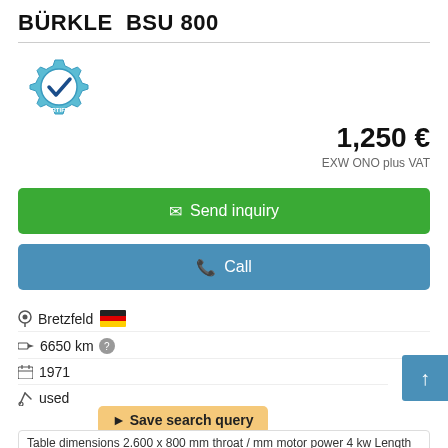BÜRKLE  BSU 800
[Figure (logo): Certified Dealer badge — teal gear icon with checkmark and text CERTIFIED DEALER]
1,250 €
EXW ONO plus VAT
✉ Send inquiry
📞 Call
Bretzfeld 🇩🇪
6650 km ?
1971
used
▲ Save search query
Table dimensions 2.600 x 800 mm throat / mm motor power 4 kw Length of sanding paper 7.700 mm